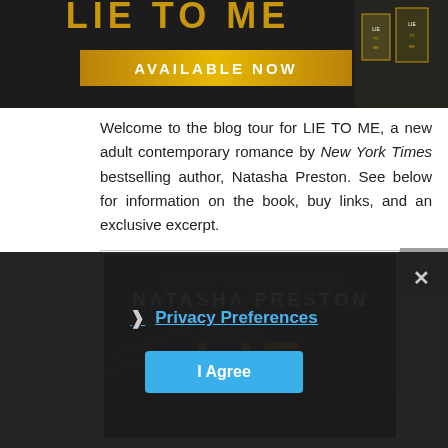[Figure (illustration): Banner image for 'LIE TO ME' book with gold/dark styling, 'AVAILABLE NOW' text, and book cover images on the right]
Welcome to the blog tour for LIE TO ME, a new adult contemporary romance by New York Times bestselling author, Natasha Preston. See below for information on the book, buy links, and an exclusive excerpt.
[Figure (illustration): Book cover for 'LIE TO ME' by Natasha Preston showing '#1 New York Times Bestselling Author', 'NATASHA PRESTON', and large gold 'LIE' text over a dark moody background with hands]
[Figure (screenshot): Privacy consent modal overlay with 'Privacy Preferences' link and 'I Agree' button on dark semi-transparent background, with X close button]